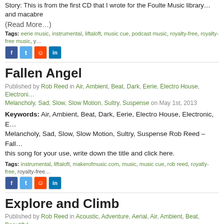Story: This is from the first CD that I wrote for the Foulte Music library... and macabre
(Read More…)
Tags: eerie music, instrumental, liftaloft, music cue, podcast music, royalty-free, royalty-free music, y...
[Figure (other): Social share icons: Facebook, Twitter, Reddit, LinkedIn]
Fallen Angel
Published by Rob Reed in Air, Ambient, Beat, Dark, Eerie, Electro House, Electronic, Melancholy, Sad, Slow, Slow Motion, Sultry, Suspense on May 1st, 2013
Keywords: Air, Ambient, Beat, Dark, Eerie, Electro House, Electronic, E... Melancholy, Sad, Slow, Slow Motion, Sultry, Suspense Rob Reed – Fall... this song for your use, write down the title and click here.
Tags: instrumental, liftaloft, makerofmusic.com, music, music cue, rob reed, royalty-free, royalty-free...
[Figure (other): Social share icons: Facebook, Twitter, Reddit, LinkedIn]
Explore and Climb
Published by Rob Reed in Acoustic, Adventure, Aerial, Air, Ambient, Beat, Beautiful, Energetic, Energy, Engine, Fly, Groove, Guitar, Happy, Hopeful, Piano, Soar, Soarin...
Keywords: Acoustic, Adventure, Aerial, Air, Ambient, Beat, Beautiful, Be... Energetic, Energy, Engine, Fly, Groove, Guitar, Happy, Hopeful, Piano, ... Playing around in the studio with four chords and thought it would be a... musical climb in it… this was the result. Rob Reed
(Read More…)
Tags: instrumental, liftaloft, music, music cue, rob reed, royalty-free, royalty-free music, soundtrack...